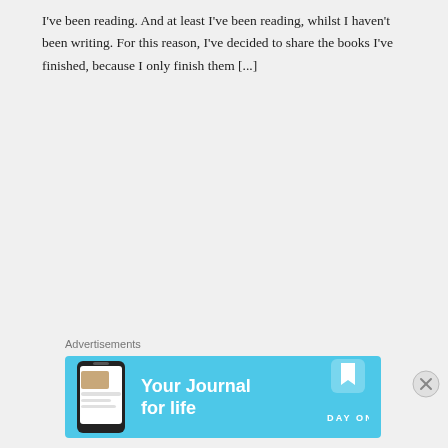I've been reading. And at least I've been reading, whilst I haven't been writing. For this reason, I've decided to share the books I've finished, because I only finish them [...]
Advertisements
[Figure (illustration): Blue advertisement banner for 'Day One' app showing a phone with the app, text 'Your Journal for life', and the Day One logo with bookmark icon.]